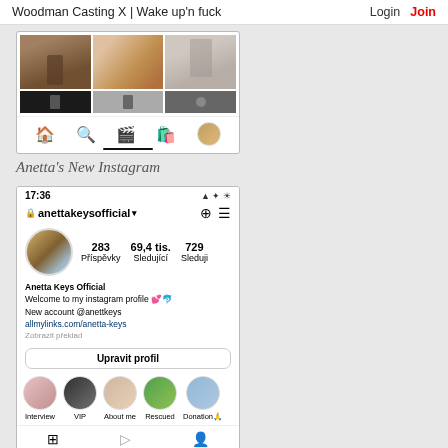Woodman Casting X | Wake up'n fuck   Login  Join
[Figure (screenshot): Mobile phone screenshot showing an Instagram-like image grid with three columns of photos and a navigation toolbar at the bottom with home, search, reels, shop, and profile icons.]
Anetta's New Instagram
[Figure (screenshot): Mobile phone screenshot of Instagram profile page for anettakeysofficial showing 283 posts, 69.4k followers, 729 following, profile bio 'Anetta Keys Official - Welcome to my instagram profile, New account @anettkeys, allmylinks.com/anetta-keys', story highlights (Interview, VIP, About me, Rescued, Donation), and a grid of three photo thumbnails at the bottom.]